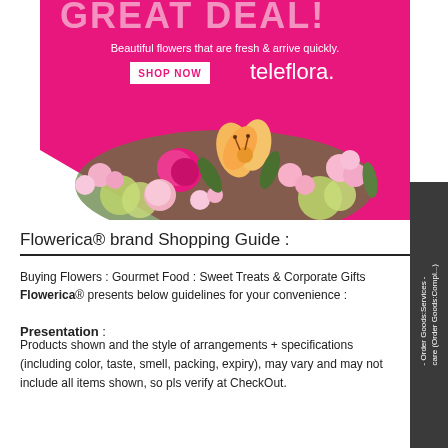[Figure (illustration): Teleflora advertisement banner with hot pink background, tagline 'Beautiful flowers that are fresh & arrive quickly.', a SHOP NOW button, teleflora logo, and a photo of a colorful flower arrangement featuring roses, lilies, and mixed blooms.]
Flowerica® brand Shopping Guide :
Buying Flowers : Gourmet Food : Sweet Treats & Corporate Gifts
Flowerica® presents below guidelines for your convenience :
Presentation :
Products shown and the style of arrangements + specifications (including color, taste, smell, packing, expiry), may vary and may not include all items shown, so pls verify at CheckOut.